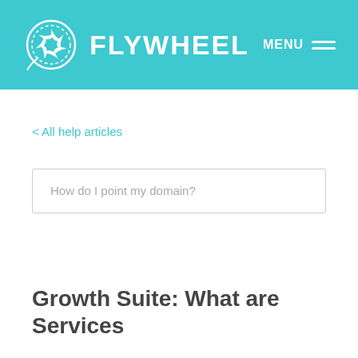FLYWHEEL  MENU
< All help articles
How do I point my domain?
Growth Suite: What are Services